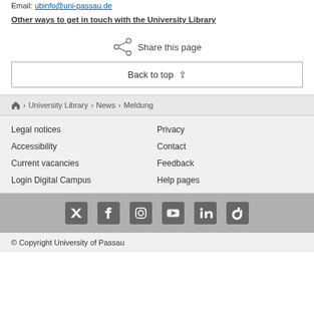Email: ubinfo@uni-passau.de
Other ways to get in touch with the University Library
[Figure (infographic): Share this page icon with text]
Back to top ↑
🏠 › University Library › News › Meldung
Legal notices
Privacy
Accessibility
Contact
Current vacancies
Feedback
Login Digital Campus
Help pages
[Figure (infographic): Social media icons: Twitter, Facebook, Instagram, YouTube, LinkedIn, TikTok]
© Copyright University of Passau